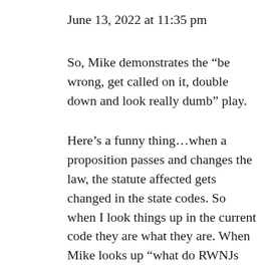June 13, 2022 at 11:35 pm
So, Mike demonstrates the “be wrong, get called on it, double down and look really dumb” play.
Here’s a funny thing…when a proposition passes and changes the law, the statute affected gets changed in the state codes. So when I look things up in the current code they are what they are. When Mike looks up “what do RWNJs claim in their blogs about California propositions” he of course gets different “